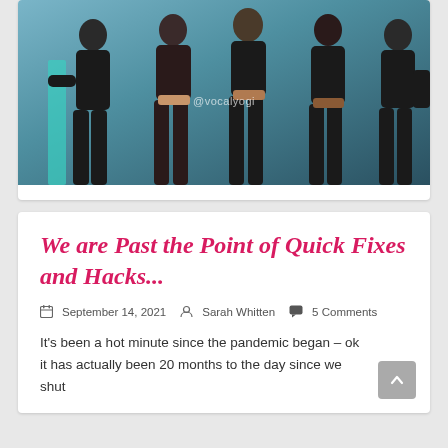[Figure (photo): Photo of women in black athletic/yoga wear standing together, watermark reads @vocalyogi]
We are Past the Point of Quick Fixes and Hacks...
September 14, 2021   Sarah Whitten   5 Comments
It's been a hot minute since the pandemic began – ok it has actually been 20 months to the day since we shut